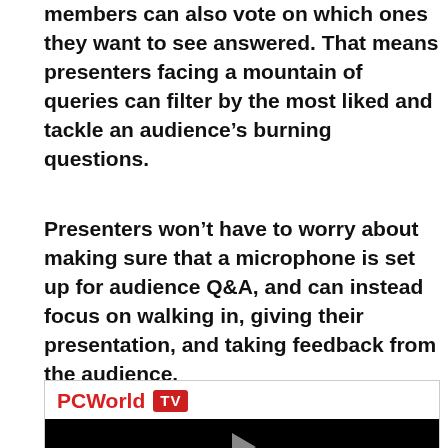members can also vote on which ones they want to see answered. That means presenters facing a mountain of queries can filter by the most liked and tackle an audience's burning questions.
Presenters won't have to worry about making sure that a microphone is set up for audience Q&A, and can instead focus on walking in, giving their presentation, and taking feedback from the audience.
[Figure (screenshot): PCWorld TV video player embed with black video area and play button]